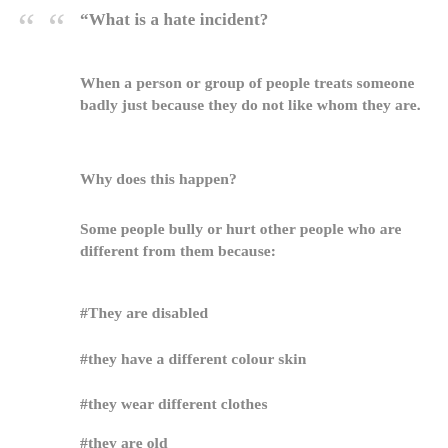“What is a hate incident?
When a person or group of people treats someone badly just because they do not like whom they are.
Why does this happen?
Some people bully or hurt other people who are different from them because:
#They are disabled
#they have a different colour skin
#they wear different clothes
#they are old